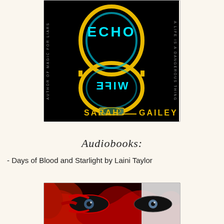[Figure (illustration): Book cover of 'Echo Wife' by Sarah Gailey. Black background with a stylized golden hourglass shape. The word ECHO appears in teal/cyan at the top and WIFE appears mirrored/reflected below. Text reads 'Author of Magic for Liars' on the left spine and 'A Life is a Dangerous Thing' on the right spine. Author name SARAH GAILEY at the bottom in gold.]
Audiobooks:
- Days of Blood and Starlight by Laini Taylor
[Figure (illustration): Bottom portion of a book cover showing a close-up of dramatic eyes with red and black face paint or markings, suggesting a fantasy/dark theme. Likely the cover of 'Days of Blood and Starlight' by Laini Taylor.]